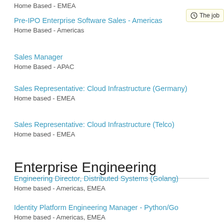Home Based - EMEA
Pre-IPO Enterprise Software Sales - Americas
Home Based - Americas
Sales Manager
Home Based - APAC
Sales Representative: Cloud Infrastructure (Germany)
Home based - EMEA
Sales Representative: Cloud Infrastructure (Telco)
Home based - EMEA
Enterprise Engineering
Engineering Director, Distributed Systems (Golang)
Home based - Americas, EMEA
Identity Platform Engineering Manager - Python/Go
Home based - Americas, EMEA